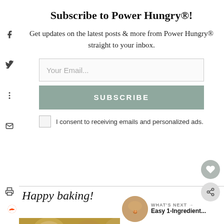Subscribe to Power Hungry®!
Get updates on the latest posts & more from Power Hungry® straight to your inbox.
Your Email...
SUBSCRIBE
I consent to receiving emails and personalized ads.
Happy baking!
WHAT'S NEXT → Easy 1-Ingredient...
[Figure (photo): Cookie/baking photo at bottom of page]
[Figure (infographic): Advertisement banner: GO BEYOND SAYING THANK YOU - Operation Gratitude JOIN US]